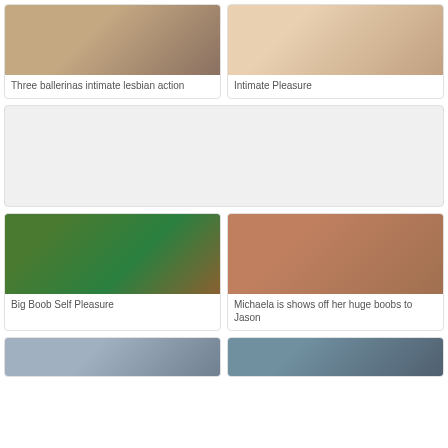[Figure (photo): Two people in intimate scene - ballerinas]
Three ballerinas intimate lesbian action
[Figure (photo): Two people in intimate scene]
Intimate Pleasure
[Figure (other): Advertisement banner placeholder]
[Figure (photo): Woman with device on green background]
Big Boob Self Pleasure
[Figure (photo): Close up of person - Michaela]
Michaela is shows off her huge boobs to Jason
[Figure (photo): Partial image at bottom left]
[Figure (photo): Partial image at bottom right]